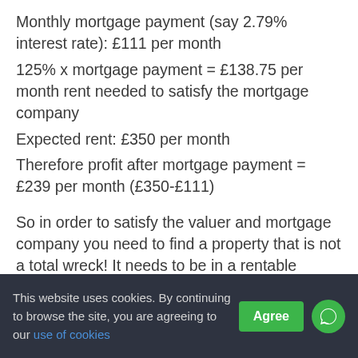Monthly mortgage payment (say 2.79% interest rate): £111 per month
125% x mortgage payment = £138.75 per month rent needed to satisfy the mortgage company
Expected rent: £350 per month
Therefore profit after mortgage payment = £239 per month (£350-£111)

So in order to satisfy the valuer and mortgage company you need to find a property that is not a total wreck! It needs to be in a rentable condition without much
This website uses cookies. By continuing to browse the site, you are agreeing to our use of cookies